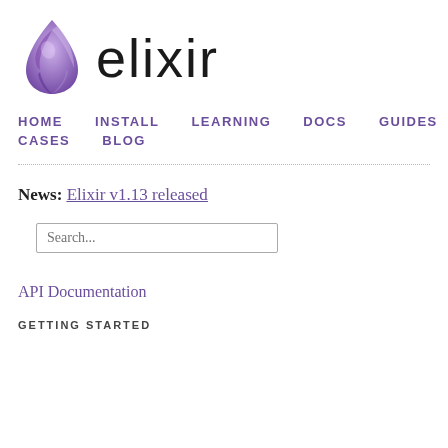[Figure (logo): Elixir language logo: purple/violet water drop shape with swirling facets, next to the word 'elixir' in large light sans-serif text]
HOME   INSTALL   LEARNING   DOCS   GUIDES   CASES   BLOG
News: Elixir v1.13 released
Search...
API Documentation
GETTING STARTED